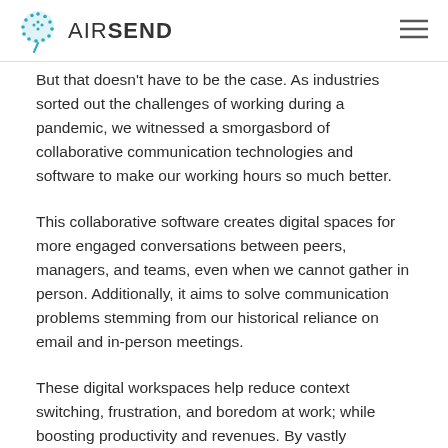AIRSEND
But that doesn't have to be the case. As industries sorted out the challenges of working during a pandemic, we witnessed a smorgasbord of collaborative communication technologies and software to make our working hours so much better.
This collaborative software creates digital spaces for more engaged conversations between peers, managers, and teams, even when we cannot gather in person. Additionally, it aims to solve communication problems stemming from our historical reliance on email and in-person meetings.
These digital workspaces help reduce context switching, frustration, and boredom at work; while boosting productivity and revenues. By vastly (continues)